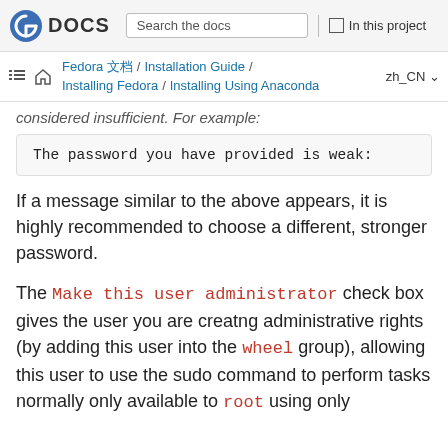Fedora DOCS | Search the docs | In this project
Fedora 文档 / Installation Guide / Installing Fedora / Installing Using Anaconda | zh_CN
considered insufficient. For example:
The password you have provided is weak:
If a message similar to the above appears, it is highly recommended to choose a different, stronger password.
The Make this user administrator check box gives the user you are creatng administrative rights (by adding this user into the wheel group), allowing this user to use the sudo command to perform tasks normally only available to root using only